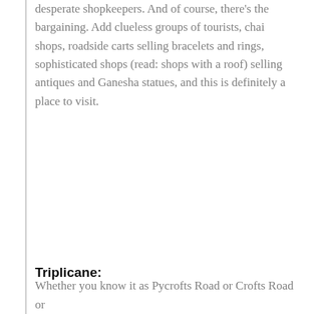desperate shopkeepers. And of course, there's the bargaining. Add clueless groups of tourists, chai shops, roadside carts selling bracelets and rings, sophisticated shops (read: shops with a roof) selling antiques and Ganesha statues, and this is definitely a place to visit.
Triplicane:
Whether you know it as Pycrofts Road or Crofts Road or